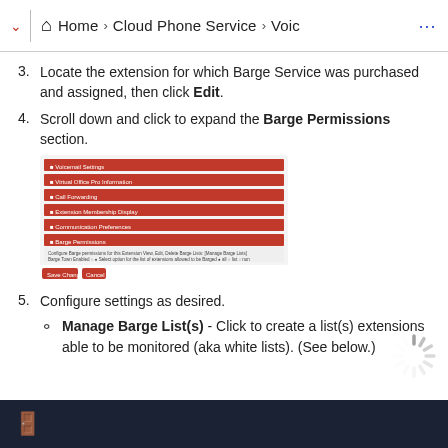Home > Cloud Phone Service > Voic ...
3. Locate the extension for which Barge Service was purchased and assigned, then click Edit.
4. Scroll down and click to expand the Barge Permissions section.
[Figure (screenshot): Screenshot of a settings page showing expandable sections including Voicemail Settings, Virtual Office Pro Information, Call Forwarding, Extension Membership Display, Communication Preferences, and Barge Permissions (expanded showing Manage Barge List, Barge Town Enabled, Barge Password Enabled options).]
5. Configure settings as desired.
Manage Barge List(s) - Click to create a list(s) extensions able to be monitored (aka white lists). (See below.)